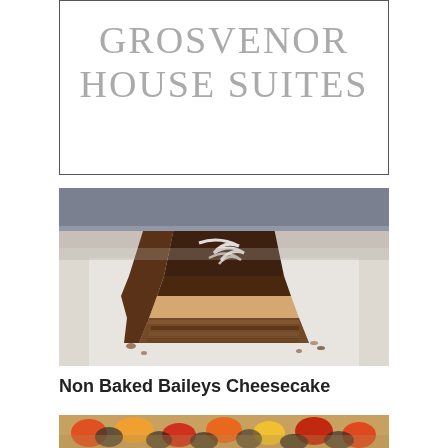[Figure (logo): Grosvenor House Suites logo — text in grey uppercase serif letters inside a black-bordered white rectangle]
[Figure (photo): A slice of chocolate Baileys cheesecake with white swirl topping on a white plate, with a nut crumb base, crumbs scattered on the plate]
Non Baked Baileys Cheesecake
[Figure (photo): Partial view of a colourful fruit or candy dessert, cropped at the bottom of the page]